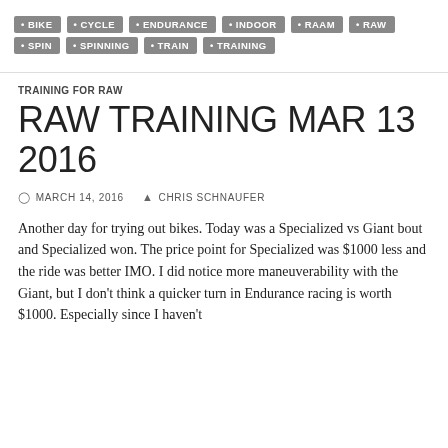BIKE
CYCLE
ENDURANCE
INDOOR
RAAM
RAW
SPIN
SPINNING
TRAIN
TRAINING
TRAINING FOR RAW
RAW TRAINING MAR 13 2016
MARCH 14, 2016   CHRIS SCHNAUFER
Another day for trying out bikes. Today was a Specialized vs Giant bout and Specialized won. The price point for Specialized was $1000 less and the ride was better IMO. I did notice more maneuverability with the Giant, but I don't think a quicker turn in Endurance racing is worth $1000. Especially since I haven't